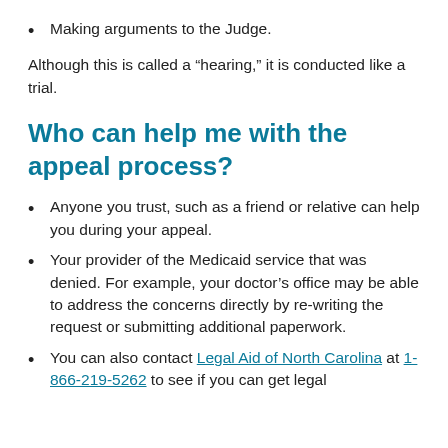Making arguments to the Judge.
Although this is called a “hearing,” it is conducted like a trial.
Who can help me with the appeal process?
Anyone you trust, such as a friend or relative can help you during your appeal.
Your provider of the Medicaid service that was denied. For example, your doctor’s office may be able to address the concerns directly by re-writing the request or submitting additional paperwork.
You can also contact Legal Aid of North Carolina at 1-866-219-5262 to see if you can get legal